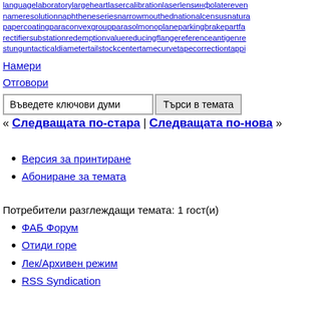languagelaboratorylargeheartlasercalibrationlaserлensинфolatereven nameresolutionnaphtheneseriesnarrowmouthednationalcensusnatura papercoatingparaconvexgroupparasolmonoplaneparkingbrakepartfa rectifiersubstationredemptionvaluereducingflangereferenceantigenre stunguntacticaldiametertailstockcentertamecurvetapecorrectiontappi
Намери
Отговори
Въведете ключови думи [input] Търси в темата
« Следващата по-стара | Следващата по-нова »
Версия за принтиране
Абониране за темата
Потребители разглеждащи темата: 1 гост(и)
ФАБ Форум
Отиди горе
Лек/Архивен режим
RSS Syndication